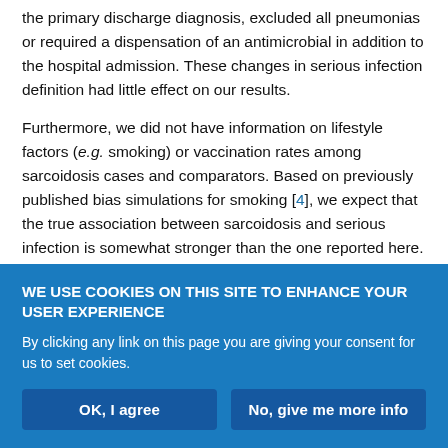the primary discharge diagnosis, excluded all pneumonias or required a dispensation of an antimicrobial in addition to the hospital admission. These changes in serious infection definition had little effect on our results.
Furthermore, we did not have information on lifestyle factors (e.g. smoking) or vaccination rates among sarcoidosis cases and comparators. Based on previously published bias simulations for smoking [4], we expect that the true association between sarcoidosis and serious infection is somewhat stronger than the one reported here. Similarly, if individuals with sarcoidosis were more likely to be
WE USE COOKIES ON THIS SITE TO ENHANCE YOUR USER EXPERIENCE
By clicking any link on this page you are giving your consent for us to set cookies.
OK, I agree
No, give me more info